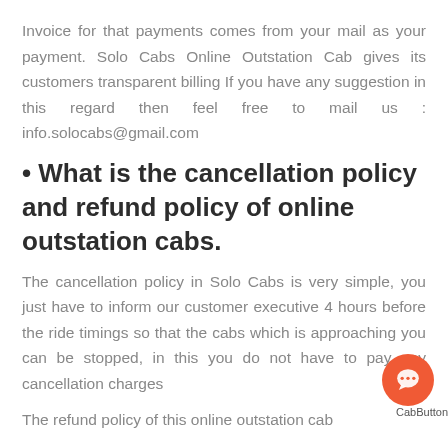Invoice for that payments comes from your mail as your payment. Solo Cabs Online Outstation Cab gives its customers transparent billing If you have any suggestion in this regard then feel free to mail us : info.solocabs@gmail.com
• What is the cancellation policy and refund policy of online outstation cabs.
The cancellation policy in Solo Cabs is very simple, you just have to inform our customer executive 4 hours before the ride timings so that the cabs which is approaching you can be stopped, in this you do not have to pay any cancellation charges
The refund policy of this online outstation cab